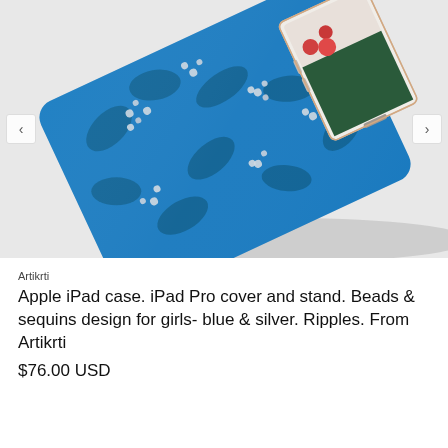[Figure (photo): Product photo of an Apple iPad case with beads and sequins design in blue and silver ripples pattern, shown at an angle with the iPad partially visible showing a red and green screen, on a light gray background. Navigation arrows on left and right sides.]
Artikrti
Apple iPad case. iPad Pro cover and stand. Beads & sequins design for girls- blue & silver. Ripples. From Artikrti
$76.00 USD